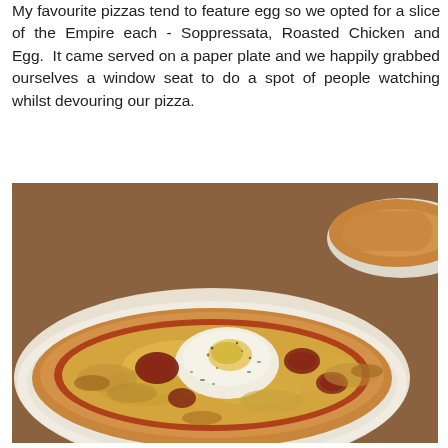My favourite pizzas tend to feature egg so we opted for a slice of the Empire each - Soppressata, Roasted Chicken and Egg. It came served on a paper plate and we happily grabbed ourselves a window seat to do a spot of people watching whilst devouring our pizza.
[Figure (photo): Close-up photo of a pizza slice on a white paper plate on a wooden surface. The pizza features melted cheese, tomato sauce, and a baked egg in the center, with pieces of meat (soppressata) and herbs visible. Another pizza on a paper plate is partially visible in the upper right corner.]